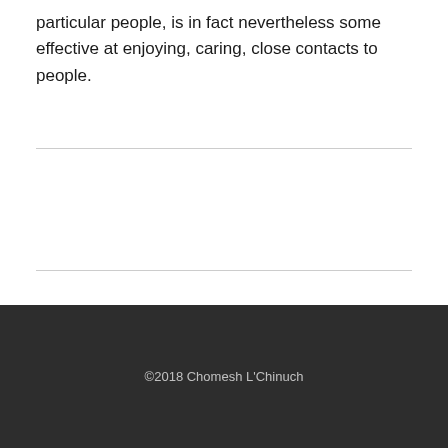particular people, is in fact nevertheless some effective at enjoying, caring, close contacts to people.
©2018 Chomesh L'Chinuch